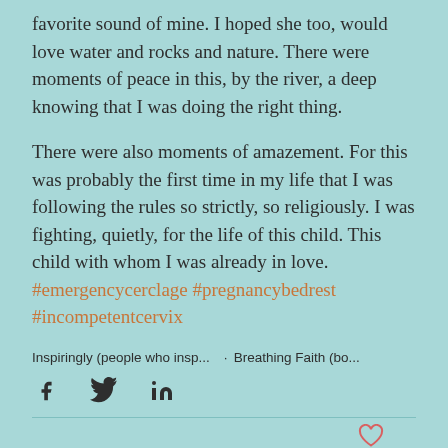favorite sound of mine. I hoped she too, would love water and rocks and nature. There were moments of peace in this, by the river, a deep knowing that I was doing the right thing.
There were also moments of amazement. For this was probably the first time in my life that I was following the rules so strictly, so religiously. I was fighting, quietly, for the life of this child. This child with whom I was already in love.
#emergencycerclage #pregnancybedrest #incompetentcervix
Inspiringly (people who insp...  ·  Breathing Faith (bo...
[Figure (other): Social media share icons: Facebook (f), Twitter (bird), LinkedIn (in)]